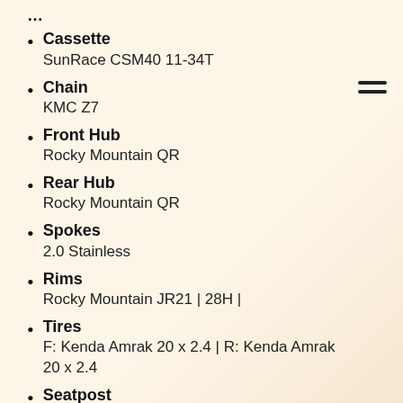Cassette
SunRace CSM40 11-34T
Chain
KMC Z7
Front Hub
Rocky Mountain QR
Rear Hub
Rocky Mountain QR
Spokes
2.0 Stainless
Rims
Rocky Mountain JR21 | 28H |
Tires
F: Kenda Amrak 20 x 2.4 | R: Kenda Amrak 20 x 2.4
Seatpost
Rocky Mountain Pivotal 27.2mm
Saddle
Rocky Mountain Pivotal Jr
Weight